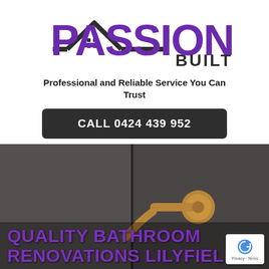[Figure (logo): Passion Built logo with purple text and dark house/roof icon]
Professional and Reliable Service You Can Trust
CALL 0424 439 952
[Figure (photo): Dark bathroom wall with gold/brass wall-mounted tap faucet]
QUALITY BATHROOM RENOVATIONS LILYFIELD